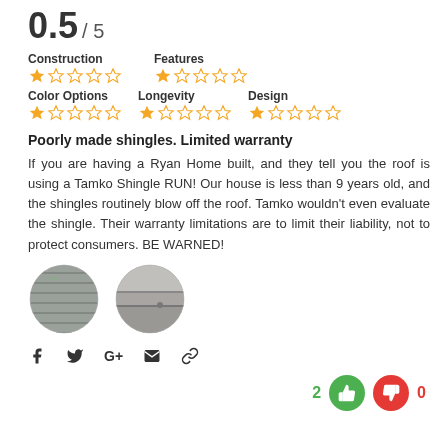0.5 / 5
Construction ★☆☆☆☆  Features ★☆☆☆☆  Color Options ★☆☆☆☆  Longevity ★☆☆☆☆  Design ★☆☆☆☆
Poorly made shingles. Limited warranty
If you are having a Ryan Home built, and they tell you the roof is using a Tamko Shingle RUN! Our house is less than 9 years old, and the shingles routinely blow off the roof. Tamko wouldn't even evaluate the shingle. Their warranty limitations are to limit their liability, not to protect consumers. BE WARNED!
[Figure (photo): Two circular cropped photos of damaged roof shingles]
Social share icons: Facebook, Twitter, Google+, Email, Link
Vote: 2 thumbs up, 0 thumbs down